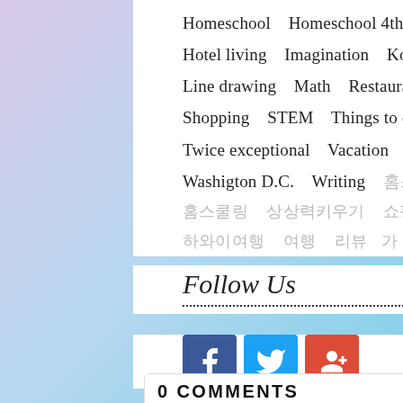Homeschool   Homeschool 4th grade   Hotel living   Imagination   Korilakkuma   Line drawing   Math   Restaurant   Review   Shopping   STEM   Things to do in Hawaii   Twice exceptional   Vacation   Washigton D.C.   Writing   [Korean tags]   [Korean tags continued]
Follow Us
[Figure (logo): Facebook, Twitter, and Google+ social media icon buttons, plus a back-to-top arrow button]
0 COMMENTS
LEAVE A MESSAGE...